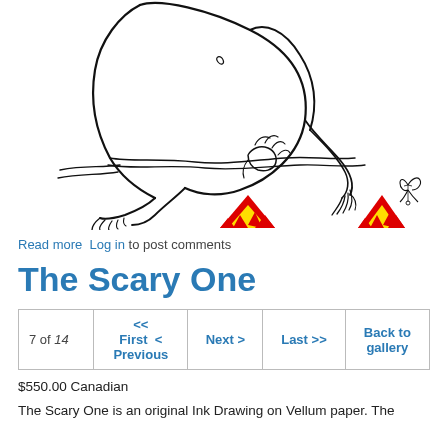[Figure (illustration): Line drawing (ink on vellum) of a crouching figure with two colorful red and yellow triangular shapes at the bottom, and a small sketched butterfly or insect in the lower right corner.]
Read more  Log in to post comments
The Scary One
| 7 of 14 | << First  < Previous | Next > | Last >> | Back to gallery |
$550.00 Canadian
The Scary One is an original Ink Drawing on Vellum paper. The